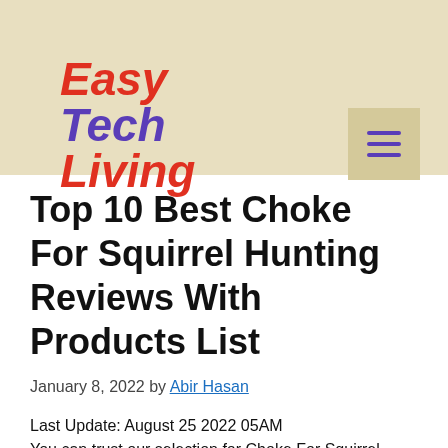Easy Tech Living
Top 10 Best Choke For Squirrel Hunting Reviews With Products List
January 8, 2022 by Abir Hasan
Last Update: August 25 2022 05AM
You can trust our selection for Choke For Squirrel Hunting Reviews. Because We have worked hard